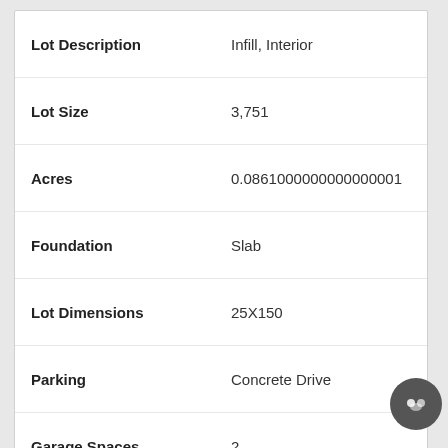| Property Field | Value |
| --- | --- |
| Lot Description | Infill, Interior |
| Lot Size | 3,751 |
| Acres | 0.0861000000000000001 |
| Foundation | Slab |
| Lot Dimensions | 25X150 |
| Parking | Concrete Drive |
| Garage Spaces | 2 |
Request Info
Schedule Showing
Add to Favorites